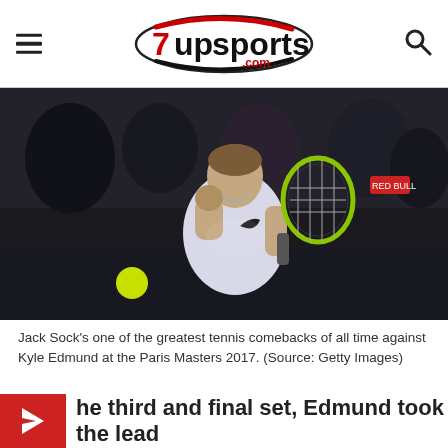7upsports.com
[Figure (photo): Jack Sock pumping his fist on court with tennis racket during Paris Masters 2017, crowd in background]
Jack Sock's one of the greatest tennis comebacks of all time against Kyle Edmund at the Paris Masters 2017. (Source: Getty Images)
the third and final set, Edmund took the lead